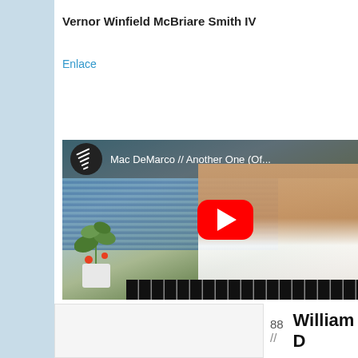Vernor Winfield McBriare Smith IV
Enlace
[Figure (screenshot): YouTube video thumbnail for 'Mac DeMarco // Another One (Off...)' showing a man in a white t-shirt with a piano keyboard, a potted plant, and water in the background, with a red YouTube play button overlay.]
88 // William D